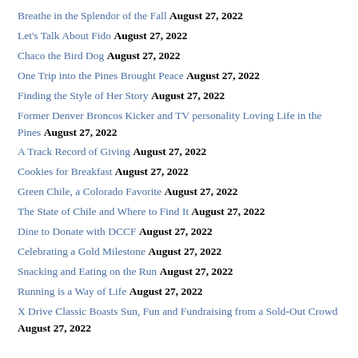Breathe in the Splendor of the Fall August 27, 2022
Let's Talk About Fido August 27, 2022
Chaco the Bird Dog August 27, 2022
One Trip into the Pines Brought Peace August 27, 2022
Finding the Style of Her Story August 27, 2022
Former Denver Broncos Kicker and TV personality Loving Life in the Pines August 27, 2022
A Track Record of Giving August 27, 2022
Cookies for Breakfast August 27, 2022
Green Chile, a Colorado Favorite August 27, 2022
The State of Chile and Where to Find It August 27, 2022
Dine to Donate with DCCF August 27, 2022
Celebrating a Gold Milestone August 27, 2022
Snacking and Eating on the Run August 27, 2022
Running is a Way of Life August 27, 2022
X Drive Classic Boasts Sun, Fun and Fundraising from a Sold-Out Crowd August 27, 2022